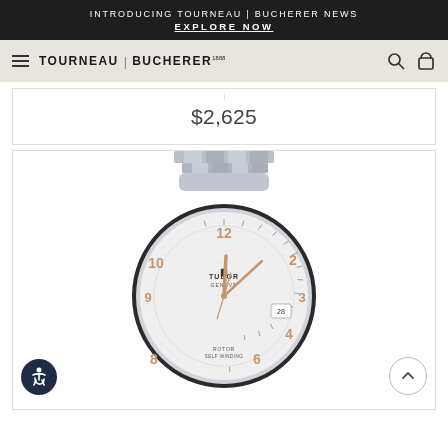INTRODUCING TOURNEAU | BUCHERER NEWS
EXPLORE NOW
[Figure (screenshot): Tourneau Bucherer navigation bar with hamburger menu, logo, search and bag icons]
$2,625
[Figure (photo): Tudor Geneve watch with silver dial, rose gold hands and Arabic numerals, steel bracelet, date window at 3 o'clock]